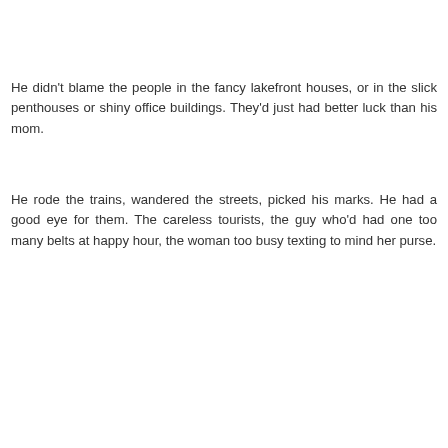He didn't blame the people in the fancy lakefront houses, or in the slick penthouses or shiny office buildings. They'd just had better luck than his mom.
He rode the trains, wandered the streets, picked his marks. He had a good eye for them. The careless tourists, the guy who'd had one too many belts at happy hour, the woman too busy texting to mind her purse.